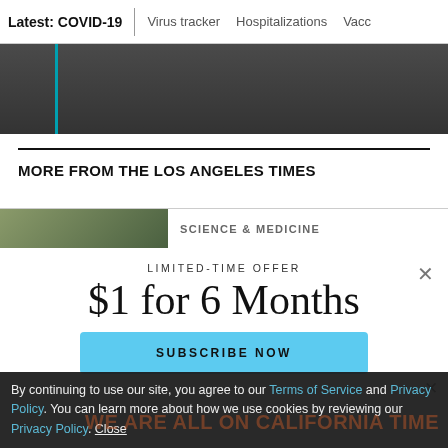Latest: COVID-19 | Virus tracker | Hospitalizations | Vacc
[Figure (photo): Partial photo strip with teal vertical bar, dark background]
MORE FROM THE LOS ANGELES TIMES
SCIENCE & MEDICINE
LIMITED-TIME OFFER
$1 for 6 Months
SUBSCRIBE NOW
By continuing to use our site, you agree to our Terms of Service and Privacy Policy. You can learn more about how we use cookies by reviewing our Privacy Policy. Close